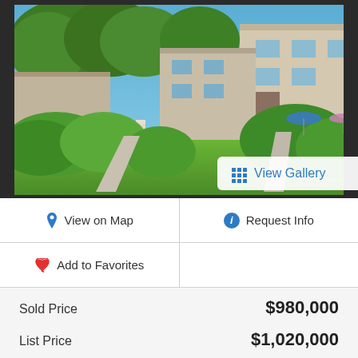[Figure (photo): Exterior photo of a residential property with green hedges, trees, a walkway, and multi-unit townhouse buildings in the background. A 'View Gallery' button with a grid icon is overlaid at the bottom center of the photo.]
View on Map
Request Info
Add to Favorites
Sold Price   $980,000
List Price   $1,020,000